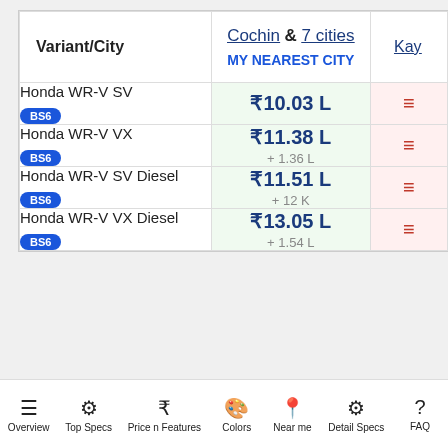| Variant/City | Cochin & 7 cities
MY NEAREST CITY | Kay |
| --- | --- | --- |
| Honda WR-V SV BS6 | ₹10.03 L | ≡ |
| Honda WR-V VX BS6 | ₹11.38 L
+ 1.36 L | ≡ |
| Honda WR-V SV Diesel BS6 | ₹11.51 L
+ 12 K | ≡ |
| Honda WR-V VX Diesel BS6 | ₹13.05 L
+ 1.54 L | ≡ |
Overview  Top Specs  Price n Features  Colors  Near me  Detail Specs  FAQ